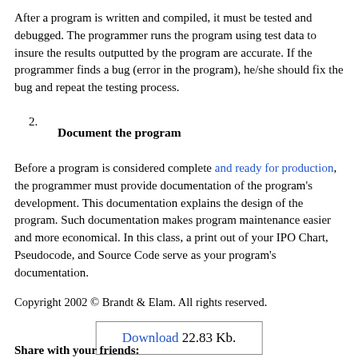After a program is written and compiled, it must be tested and debugged. The programmer runs the program using test data to insure the results outputted by the program are accurate. If the programmer finds a bug (error in the program), he/she should fix the bug and repeat the testing process.
2. Document the program
Before a program is considered complete and ready for production, the programmer must provide documentation of the program's development. This documentation explains the design of the program. Such documentation makes program maintenance easier and more economical. In this class, a print out of your IPO Chart, Pseudocode, and Source Code serve as your program's documentation.
Copyright 2002 © Brandt & Elam. All rights reserved.
Download 22.83 Kb.
Share with your friends: